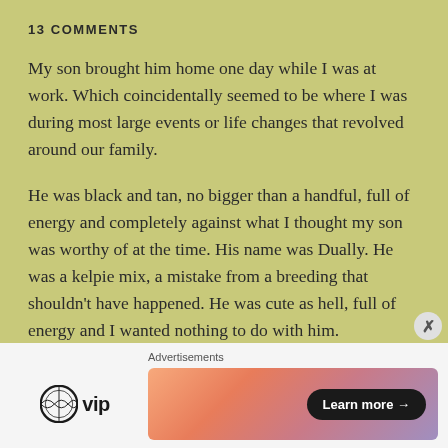13 COMMENTS
My son brought him home one day while I was at work. Which coincidentally seemed to be where I was during most large events or life changes that revolved around our family.
He was black and tan, no bigger than a handful, full of energy and completely against what I thought my son was worthy of at the time. His name was Dually. He was a kelpie mix, a mistake from a breeding that shouldn't have happened. He was cute as hell, full of energy and I wanted nothing to do with him.
Advertisements  WPvip  Learn more →